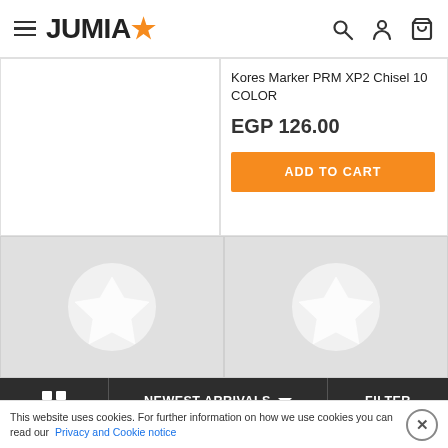JUMIA
[Figure (screenshot): Left product card showing partial white product image area]
Kores Marker PRM XP2 Chisel 10 COLOR
EGP 126.00
ADD TO CART
[Figure (photo): Loading placeholder card with Jumia star icon on grey background]
[Figure (photo): Loading placeholder card with Jumia star icon on grey background]
NEWEST ARRIVALS
FILTER
This website uses cookies. For further information on how we use cookies you can read our Privacy and Cookie notice